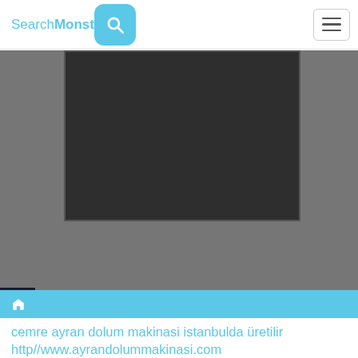SearchMonster
[Figure (screenshot): A screenshot of a webpage showing a dark monitor/screen against a grey background, from a website called SearchMonster]
🏠
cemre ayran dolum makinasi istanbulda üretilir http//www.ayrandolummakinasi.com